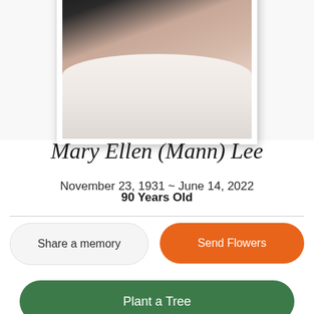[Figure (photo): Portrait photo of Mary Ellen (Mann) Lee in a white frame, showing the lower face and upper torso in a white shirt, with dark background at top]
Mary Ellen (Mann) Lee
November 23, 1931 ~ June 14, 2022
90 Years Old
Share a memory
Send Flowers
Plant a Tree